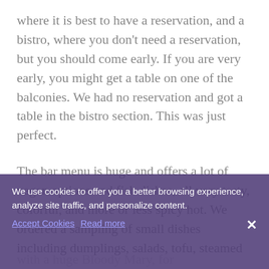where it is best to have a reservation, and a bistro, where you don't need a reservation, but you should come early. If you are very early, you might get a table on one of the balconies. We had no reservation and got a table in the bistro section. This was just perfect.
The bar menu is huge and offers a lot of vegan options and fish dishes, all very tasty, colorful, and more or less spicy hot. We ordered a sampling of small dishes including dumplings, salads, tofu, steamed
We use cookies to offer you a better browsing experience, analyze site traffic, and personalize content.
Accept Cookies  Read more